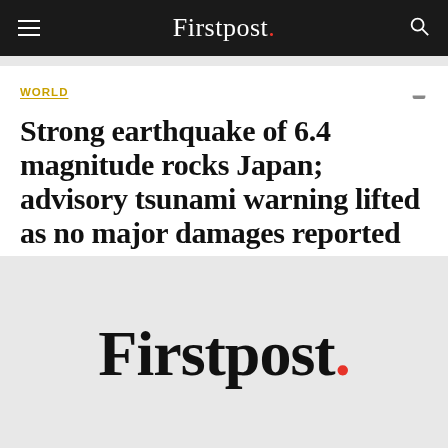Firstpost.
WORLD
Strong earthquake of 6.4 magnitude rocks Japan; advisory tsunami warning lifted as no major damages reported
A strong 6.4-magnitude earthquake rocked Japan, sparking a tsunami advisory that was later lifted with no reports, on Wednesday
[Figure (logo): Firstpost. logo in large bold serif font on light gray background, with a red period at the end]